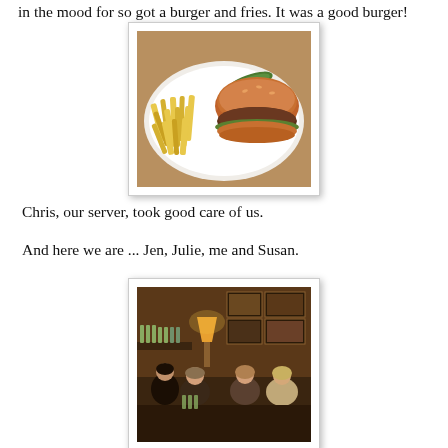in the mood for so got a burger and fries. It was a good burger!
[Figure (photo): A plate with a burger and french fries, with a pickle on the side, on a white plate.]
Chris, our server, took good care of us.
And here we are ... Jen, Julie, me and Susan.
[Figure (photo): Four women sitting at a bar/restaurant table smiling at the camera, with a lit lamp and framed pictures on the wall behind them.]